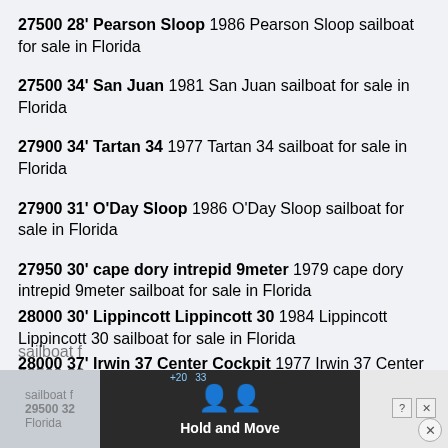27500 28' Pearson Sloop 1986 Pearson Sloop sailboat for sale in Florida
27500 34' San Juan 1981 San Juan sailboat for sale in Florida
27900 34' Tartan 34 1977 Tartan 34 sailboat for sale in Florida
27900 31' O'Day Sloop 1986 O'Day Sloop sailboat for sale in Florida
27950 30' cape dory intrepid 9meter 1979 cape dory intrepid 9meter sailboat for sale in Florida
28000 30' Lippincott Lippincott 30 1984 Lippincott Lippincott 30 sailboat for sale in Florida
28000 37' Irwin 37 Center Cockpit 1977 Irwin 37 Center Cockpit sailboat for sale in Florida
28500 32.5' Pearson Vanguard 1966 Pearson Vanguard sailboat for sale in Florida
29000 36' Macgregor 36' catamaran 1979 Macgregor 36' catamaran sailboat for sale in Florida
29500 32' ... sailboat for sale in Florida